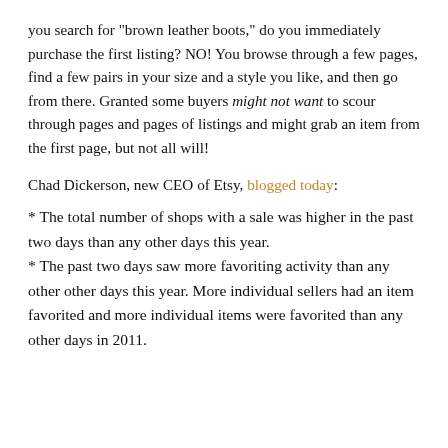you search for "brown leather boots," do you immediately purchase the first listing? NO! You browse through a few pages, find a few pairs in your size and a style you like, and then go from there. Granted some buyers might not want to scour through pages and pages of listings and might grab an item from the first page, but not all will!
Chad Dickerson, new CEO of Etsy, blogged today:
* The total number of shops with a sale was higher in the past two days than any other days this year.
* The past two days saw more favoriting activity than any other other days this year. More individual sellers had an item favorited and more individual items were favorited than any other days in 2011.